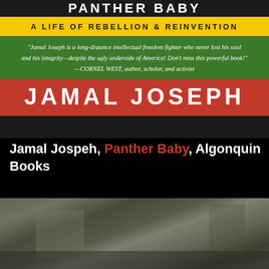[Figure (illustration): Book cover of 'Panther Baby' by Jamal Joseph. The cover has a dark top bar with the partial title, a yellow bar reading 'A LIFE OF REBELLION & REINVENTION', a green bar with a blurb quote from Cornel West, and a red bar with the author name 'JAMAL JOSEPH' in large white letters.]
Jamal Jospeh, Panther Baby, Algonquin Books
[Figure (photo): A blurry black-and-white photograph showing an outdoor scene, possibly a street or public gathering area with trees and buildings in the background.]